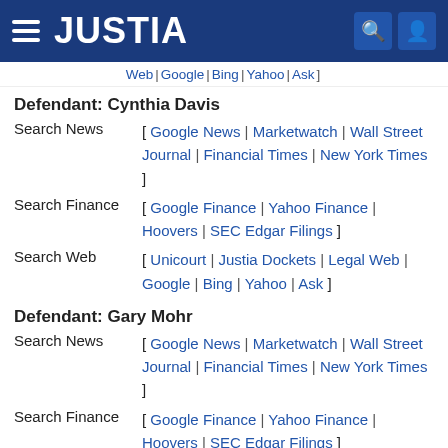JUSTIA
Web | Google | Bing | Yahoo | Ask ]
Defendant: Cynthia Davis
Search News [ Google News | Marketwatch | Wall Street Journal | Financial Times | New York Times ]
Search Finance [ Google Finance | Yahoo Finance | Hoovers | SEC Edgar Filings ]
Search Web [ Unicourt | Justia Dockets | Legal Web | Google | Bing | Yahoo | Ask ]
Defendant: Gary Mohr
Search News [ Google News | Marketwatch | Wall Street Journal | Financial Times | New York Times ]
Search Finance [ Google Finance | Yahoo Finance | Hoovers | SEC Edgar Filings ]